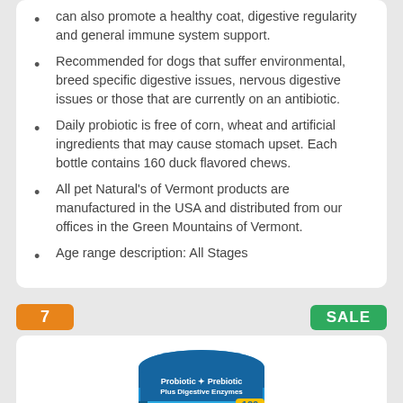can also promote a healthy coat, digestive regularity and general immune system support.
Recommended for dogs that suffer environmental, breed specific digestive issues, nervous digestive issues or those that are currently on an antibiotic.
Daily probiotic is free of corn, wheat and artificial ingredients that may cause stomach upset. Each bottle contains 160 duck flavored chews.
All pet Natural's of Vermont products are manufactured in the USA and distributed from our offices in the Green Mountains of Vermont.
Age range description: All Stages
[Figure (photo): Product image of Well Loved Probiotics for Dogs - Probiotic, Prebiotic Plus Digestive Enzymes, 120 chews, shown in a blue cylindrical container with a cartoon dog face.]